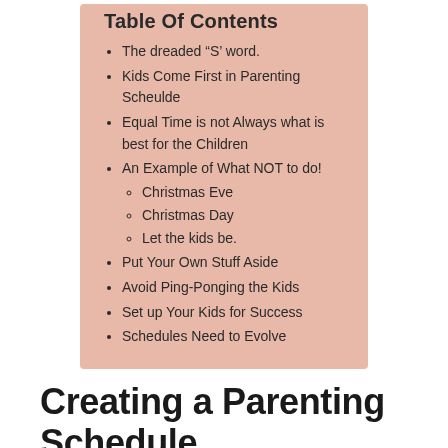Table Of Contents
The dreaded “S’ word.
Kids Come First in Parenting Scheulde
Equal Time is not Always what is best for the Children
An Example of What NOT to do!
Christmas Eve
Christmas Day
Let the kids be.
Put Your Own Stuff Aside
Avoid Ping-Ponging the Kids
Set up Your Kids for Success
Schedules Need to Evolve
Creating a Parenting Schedule
There are many different ways to split up the schedule depending on the age and stage of the children.